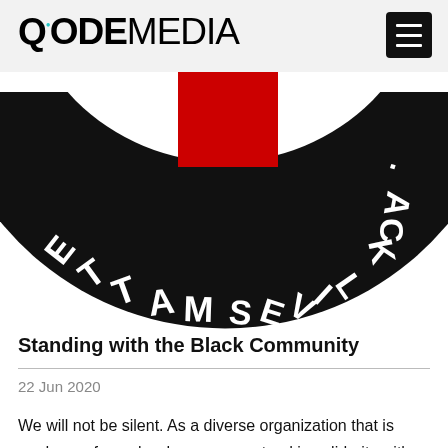QODEMEDIA
[Figure (illustration): Black Lives Matter logo shown bottom half with black ring containing white text 'BLACK LIVES MATTER' (appearing upside down/mirrored from bottom perspective), with red square shape visible in the center on white background]
Standing with the Black Community
22 Jun 2020
We will not be silent. As a diverse organization that is made up of people who care, we stand in solidarity with those advocating for racial injustice and aim to be part of the change by taking action. We are making